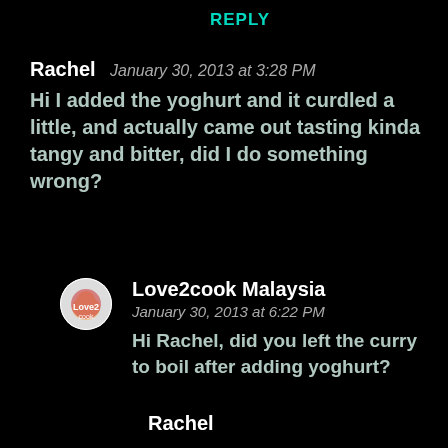REPLY
Rachel  January 30, 2013 at 3:28 PM
Hi I added the yoghurt and it curdled a little, and actually came out tasting kinda tangy and bitter, did I do something wrong?
[Figure (illustration): Circular avatar of Love2cook Malaysia blog]
Love2cook Malaysia
January 30, 2013 at 6:22 PM
Hi Rachel, did you left the curry to boil after adding yoghurt?
Rachel